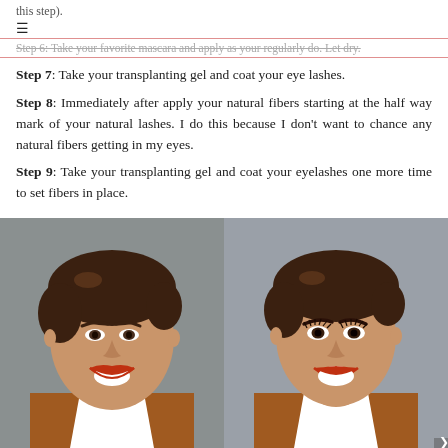this step).
≡
Step 6: Take your favorite mascara and apply as your regularly do. Let dry.
Step 7: Take your transplanting gel and coat your eye lashes.
Step 8: Immediately after apply your natural fibers starting at the half way mark of your natural lashes. I do this because I don't want to chance any natural fibers getting in my eyes.
Step 9: Take your transplanting gel and coat your eyelashes one more time to set fibers in place.
[Figure (photo): Before photo of a smiling woman with short dark hair, red lips, wearing a white top and brown cardigan]
[Figure (photo): After photo of the same smiling woman with short dark hair, red lips, wearing a white top and brown cardigan, with more dramatic eye lashes]